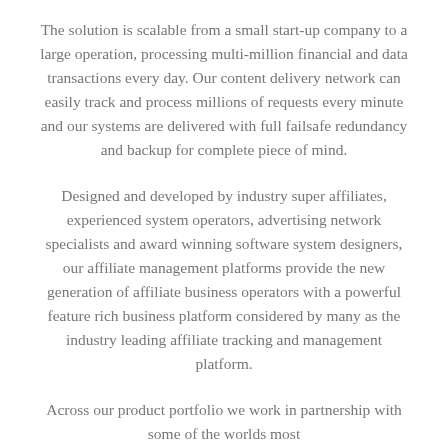The solution is scalable from a small start-up company to a large operation, processing multi-million financial and data transactions every day. Our content delivery network can easily track and process millions of requests every minute and our systems are delivered with full failsafe redundancy and backup for complete piece of mind.
Designed and developed by industry super affiliates, experienced system operators, advertising network specialists and award winning software system designers, our affiliate management platforms provide the new generation of affiliate business operators with a powerful feature rich business platform considered by many as the industry leading affiliate tracking and management platform.
Across our product portfolio we work in partnership with some of the worlds most